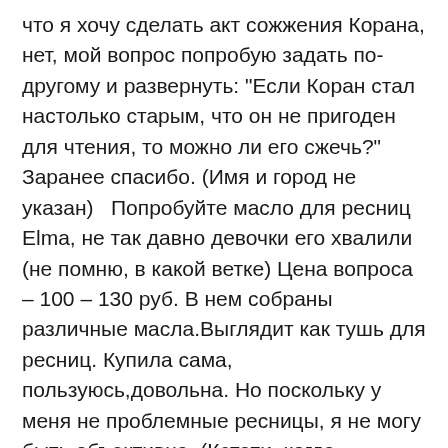что я хочу сделать акт сожжения Корана, нет, мой вопрос попробую задать по-другому и развернуть: "Если Коран стал настолько старым, что он не пригоден для чтения, то можно ли его сжечь?" Заранее спасибо. (Имя и город не указан)   Попробуйте масло для ресниц Elma, не так давно девочки его хвалили (не помню, в какой ветке) Цена вопроса – 100 – 130 руб. В нем собраны различные масла.Выглядит как тушь для ресниц. Купила сама, пользуюсь,довольна. Но поскольку у меня не проблемные ресницы, я не могу быть объективна. (Кстати, когда покупала в аптеке, девушка сказала что покупательницы берут именно его) https://sergiokzoc098642.smblogsites.com/11878722/долговременная-укладка-бровей-средства Этот продукт идеально подойдет обладательницам тонких, полупрозрачных волосков на бровях. Тушь одновременно окрасит и сделает брови визуально более объемными. В то же время, тушь не подходит для